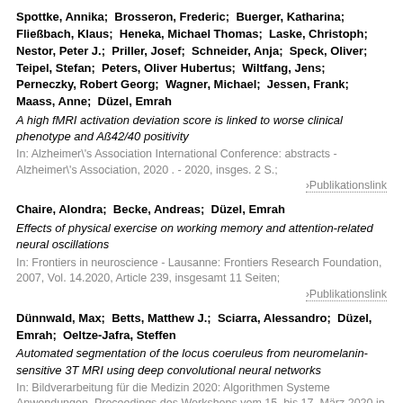Spottke, Annika;  Brosseron, Frederic;  Buerger, Katharina;  Fließbach, Klaus;  Heneka, Michael Thomas;  Laske, Christoph;  Nestor, Peter J.;  Priller, Josef;  Schneider, Anja;  Speck, Oliver;  Teipel, Stefan;  Peters, Oliver Hubertus;  Wiltfang, Jens;  Perneczky, Robert Georg;  Wagner, Michael;  Jessen, Frank;  Maass, Anne;  Düzel, Emrah
A high fMRI activation deviation score is linked to worse clinical phenotype and Aß42/40 positivity
In: Alzheimer\'s Association International Conference: abstracts - Alzheimer\'s Association, 2020 . - 2020, insges. 2 S.;
›Publikationslink
Chaire, Alondra;  Becke, Andreas;  Düzel, Emrah
Effects of physical exercise on working memory and attention-related neural oscillations
In: Frontiers in neuroscience - Lausanne: Frontiers Research Foundation, 2007, Vol. 14.2020, Article 239, insgesamt 11 Seiten;
›Publikationslink
Dünnwald, Max;  Betts, Matthew J.;  Sciarra, Alessandro;  Düzel, Emrah;  Oeltze-Jafra, Steffen
Automated segmentation of the locus coeruleus from neuromelanin-sensitive 3T MRI using deep convolutional neural networks
In: Bildverarbeitung für die Medizin 2020: Algorithmen Systeme Anwendungen. Proceedings des Workshops vom 15. bis 17. März 2020 in Berlin/ Bildverarbeitung für die Medizin - Wiesbaden: Springer